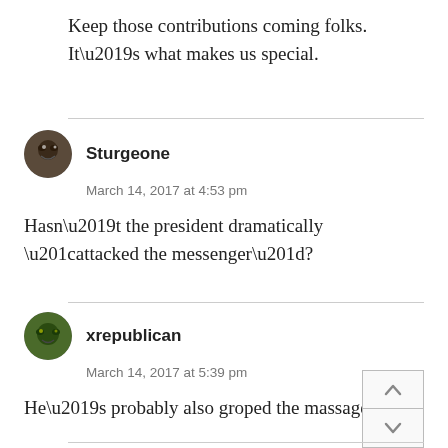Keep those contributions coming folks. It’s what makes us special.
Sturgeone
March 14, 2017 at 4:53 pm

Hasn’t the president dramatically “attacked the messenger”?
xrepublican
March 14, 2017 at 5:39 pm

He’s probably also groped the massager.